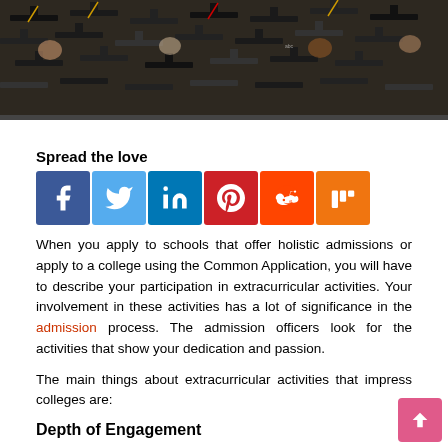[Figure (photo): Overhead view of graduating students wearing black graduation caps and gowns]
Spread the love
[Figure (infographic): Row of social media share buttons: Facebook, Twitter, LinkedIn, Pinterest, Reddit, Mix]
When you apply to schools that offer holistic admissions or apply to a college using the Common Application, you will have to describe your participation in extracurricular activities. Your involvement in these activities has a lot of significance in the admission process. The admission officers look for the activities that show your dedication and passion.
The main things about extracurricular activities that impress colleges are:
Depth of Engagement
Colleges see how deeply involved the student has been in a